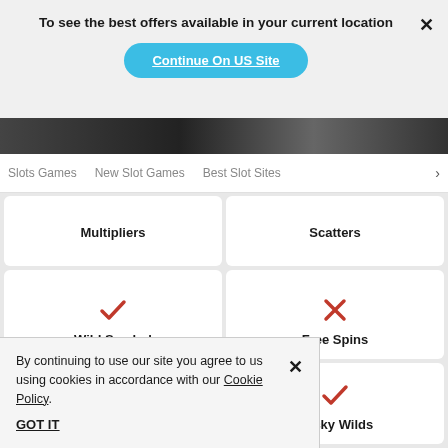To see the best offers available in your current location
Continue On US Site
Slots Games   New Slot Games   Best Slot Sites  >
Multipliers
Scatters
[Figure (other): Red checkmark icon]
Wild Symbol
[Figure (other): Red X icon]
Free Spins
By continuing to use our site you agree to us using cookies in accordance with our Cookie Policy.
GOT IT
[Figure (other): Red checkmark icon]
Expanding Reels
Sticky Wilds